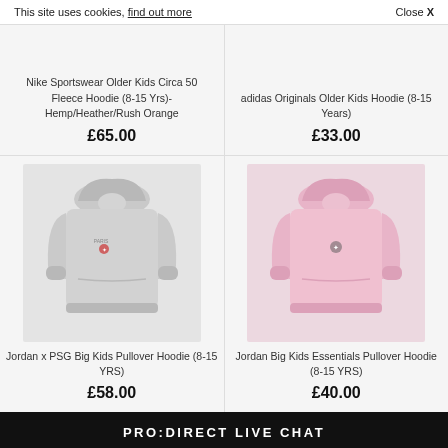This site uses cookies, find out more   Close X
Nike Sportswear Older Kids Circa 50 Fleece Hoodie (8-15 Yrs)- Hemp/Heather/Rush Orange
£65.00
adidas Originals Older Kids Hoodie (8-15 Years)
£33.00
[Figure (photo): Grey Jordan x PSG pullover hoodie for kids]
Jordan x PSG Big Kids Pullover Hoodie (8-15 YRS)
£58.00
[Figure (photo): Pink Jordan Big Kids Essentials pullover hoodie]
Jordan Big Kids Essentials Pullover Hoodie (8-15 YRS)
£40.00
PRO:DIRECT LIVE CHAT